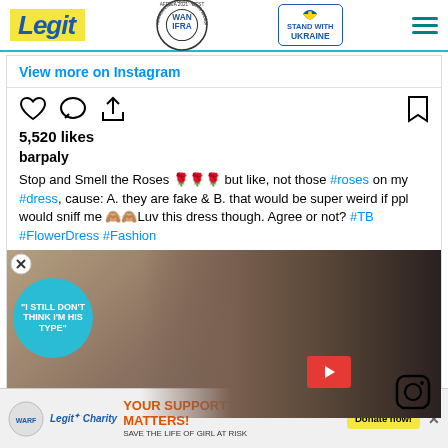Legit | WAN IFRA Best News Website in Africa 2021 | Stand with Ukraine
View more on Instagram
5,520 likes
barpaly
Stop and Smell the Roses 🌹🌹🌹 but like, not those #roses on my #dress, cause: A. they are fake & B. that would be super weird if ppl would sniff me 🙈🙈Luv this dress though. Agree or not? #TB #FlowerDress #Fashion
[Figure (photo): Video thumbnail showing a man in a tuxedo with a woman, with overlay text 'I STILL DON'T THINK I'M HIS TYPE']
YOUR SUPPORT MATTERS! SAVE THE LIFE OF GIRL AT RISK